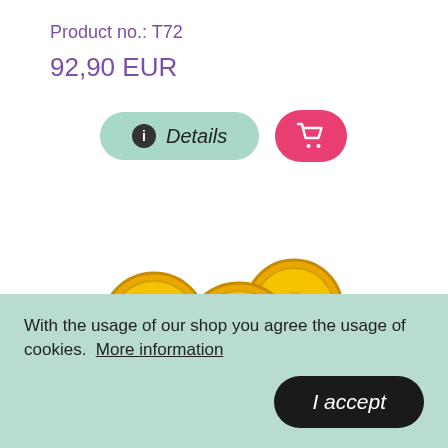Product no.: T72
92,90 EUR
[Figure (screenshot): Two pill-shaped buttons: a mint-green 'Details' button with an info icon, and a pink/red cart icon button]
[Figure (illustration): Several golden coin-like tokens with engraved symbols arranged in a cluster, partially cut off at bottom]
With the usage of our shop you agree the usage of cookies.  More information
I accept